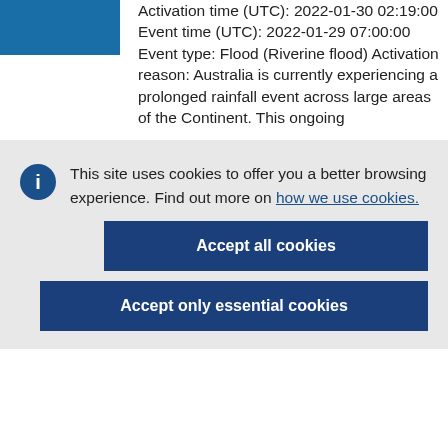Activation time (UTC): 2022-01-30 02:19:00 Event time (UTC): 2022-01-29 07:00:00 Event type: Flood (Riverine flood) Activation reason: Australia is currently experiencing a prolonged rainfall event across large areas of the Continent. This ongoing
This site uses cookies to offer you a better browsing experience. Find out more on how we use cookies.
Accept all cookies
Accept only essential cookies